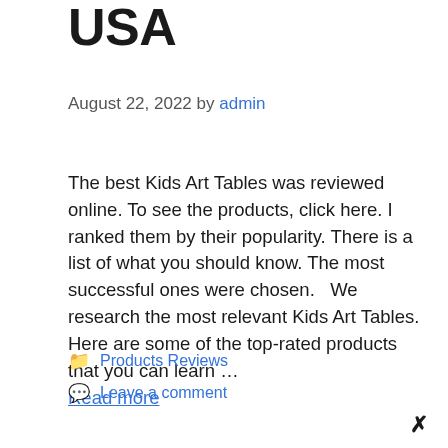USA
August 22, 2022 by admin
The best Kids Art Tables was reviewed online. To see the products, click here. I ranked them by their popularity. There is a list of what you should know. The most successful ones were chosen.   We research the most relevant Kids Art Tables. Here are some of the top-rated products that you can learn … Read more
Categories: Products Reviews
Leave a comment